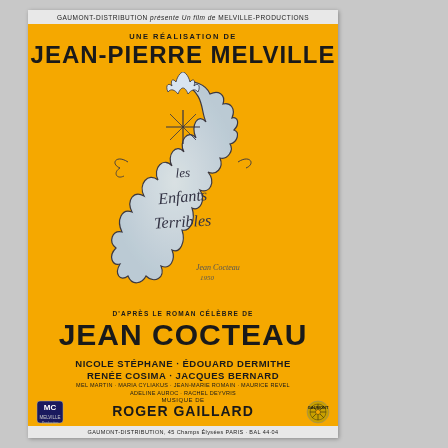[Figure (illustration): French film poster for 'Les Enfants Terribles' directed by Jean-Pierre Melville, based on the novel by Jean Cocteau. Orange/yellow background with a central white ink-blot shaped illustration showing two facing profiles and handwritten text 'les Enfants Terribles' in the center. Signed 'Jean Cocteau 1950' at the bottom of the illustration.]
GAUMONT-DISTRIBUTION présente Un FILM DE MELVILLE-PRODUCTIONS
UNE RÉALISATION DE JEAN-PIERRE MELVILLE
D'APRÈS LE ROMAN CÉLÈBRE DE JEAN COCTEAU
NICOLE STÉPHANE · ÉDOUARD DERMITHE
RENÉE COSIMA · JACQUES BERNARD
MEL MARTIN · MARIA CYLIAKUS · JEAN-MARIE ROMAIN · MAURICE REVEL ADELINE AUROC · RACHEL DEYVRIS
MUSIQUE DE ROGER GAILLARD
GAUMONT-DISTRIBUTION, 45 Champs Élysées PARIS · BAL 44-04